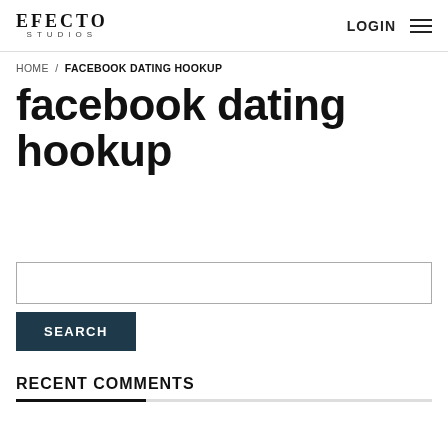EFECTO STUDIOS | LOGIN
HOME / FACEBOOK DATING HOOKUP
facebook dating hookup
SEARCH
RECENT COMMENTS